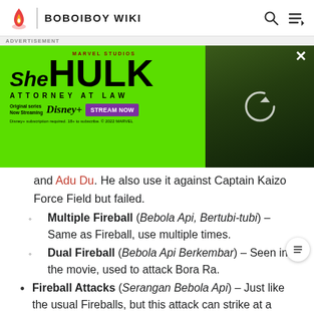BOBOIBOY WIKI
[Figure (screenshot): Advertisement banner for She-Hulk: Attorney at Law on Disney+, with green background, Marvel Studios logo, She-Hulk text logo, Disney+ logo, Stream Now button, and a photo of the actress on the right side with a loading/refresh icon overlay.]
and Adu Du. He also use it against Captain Kaizo Force Field but failed.
Multiple Fireball (Bebola Api, Bertubi-tubi) – Same as Fireball, use multiple times.
Dual Fireball (Bebola Api Berkembar) – Seen in the movie, used to attack Bora Ra.
Fireball Attacks (Serangan Bebola Api) – Just like the usual Fireballs, but this attack can strike at a distance from a distance.